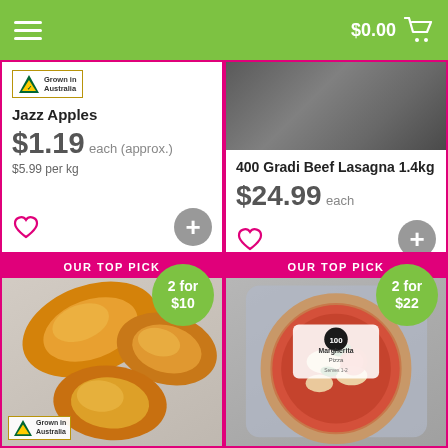$0.00
[Figure (photo): Grocery app product listing: Jazz Apples with Grown in Australia badge, price $1.19 each (approx.), $5.99 per kg, heart and add-to-cart buttons]
[Figure (photo): Grocery app product listing: 400 Gradi Beef Lasagna 1.4kg, price $24.99 each, product photo on dark background, heart and add-to-cart buttons]
[Figure (photo): Grocery app: OUR TOP PICK - Mangoes, 2 for $10 deal badge, Grown in Australia badge]
[Figure (photo): Grocery app: OUR TOP PICK - Margherita Pizza, 2 for $22 deal badge]